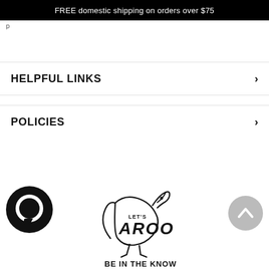FREE domestic shipping on orders over $75
HELPFUL LINKS
POLICIES
[Figure (logo): Let's Aroo dog logo with a howling dog silhouette]
BE IN THE KNOW